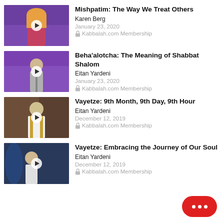Mishpatim: The Way We Treat Others
Karen Berg
January 23, 2020
Kabbalah.com Membership
Beha'alotcha: The Meaning of Shabbat Shalom
Eitan Yardeni
January 23, 2020
Kabbalah.com Membership
Vayetze: 9th Month, 9th Day, 9th Hour
Eitan Yardeni
December 12, 2019
Kabbalah.com Membership
Vayetze: Embracing the Journey of Our Soul
Eitan Yardeni
December 12, 2019
Kabbalah.com Membership